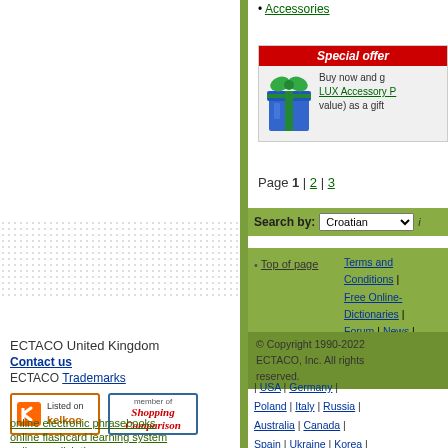• Accessories
[Figure (other): Special offer box with gift image and promotional text: Buy now and get LUX Accessory P... (value) as a gift]
Page 1 | 2 | 3
Search by: Croatian
Top of page
Terms and Conditions | Free Online-Dictionaries | Forum | News | Support | Your Account | Home
© Copyright 1990-2022 ECTACO, Inc. All rights reserved.
| USA | Germany | Poland | Italy | Russia | Australia | Canada | Spain | Ukraine | Korea |
ECTACO United Kingdom
Contact us
ECTACO Trademarks
[Figure (logo): Listed on kelkoo badge]
[Figure (logo): member of Shopping Comparison badge]
online electronic phrasebooks
online flashcard learning system
online english thesaurus